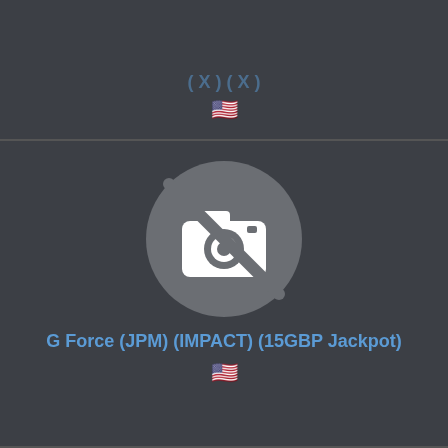[Figure (illustration): No photo available circle icon — camera with a slash through it, white on grey background]
🇺🇸
[Figure (illustration): No photo available circle icon — camera with a slash through it, white on grey background]
G Force (JPM) (IMPACT) (15GBP Jackpot)
🇺🇸
[Figure (illustration): No photo available circle icon — camera with a slash through it, white on grey background — partially visible at bottom]